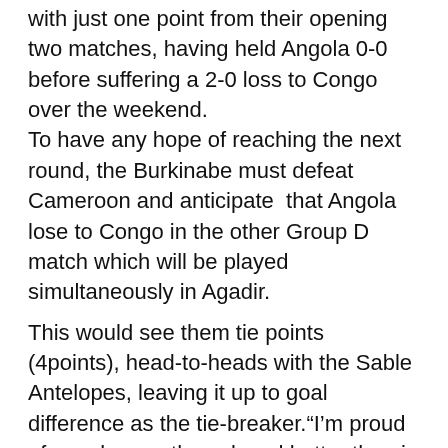with just one point from their opening two matches, having held Angola 0-0 before suffering a 2-0 loss to Congo over the weekend. To have any hope of reaching the next round, the Burkinabe must defeat Cameroon and anticipate that Angola lose to Congo in the other Group D match which will be played simultaneously in Agadir.
This would see them tie points (4points), head-to-heads with the Sable Antelopes, leaving it up to goal difference as the tie-breaker.“I’m proud of my players, they played better than in the first game. They made a big first half,” said Burkina Faso coach Idrissa Traore in the wake of the weekend loss to Congo.He added, “I do not regret anything, this group has a future both collectively and individually. We are on a mission and we will fight until the end of the competition.”